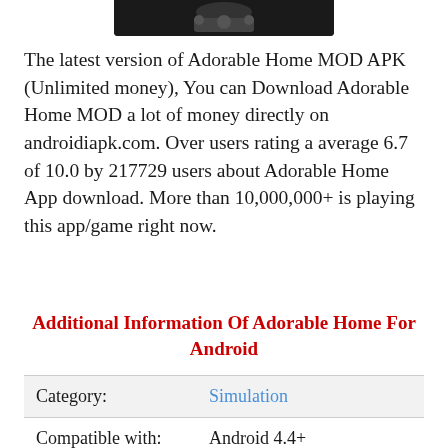[Figure (photo): Partial image at top of page showing dark background with some design elements]
The latest version of Adorable Home MOD APK (Unlimited money), You can Download Adorable Home MOD a lot of money directly on androidiapk.com. Over users rating a average 6.7 of 10.0 by 217729 users about Adorable Home App download. More than 10,000,000+ is playing this app/game right now.
Additional Information Of Adorable Home For Android
|  |  |
| --- | --- |
| Category: | Simulation |
| Compatible with: | Android 4.4+ |